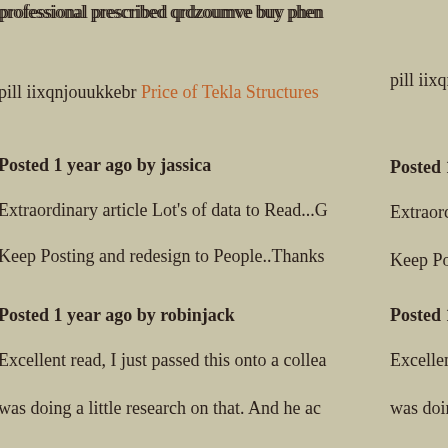professional prescribed qrdzoumve buy phen
pill iixqnjouukkebr Price of Tekla Structures
Posted 1 year ago by jassica
Extraordinary article Lot's of data to Read...G
Keep Posting and redesign to People..Thanks
Posted 1 year ago by robinjack
Excellent read, I just passed this onto a collea
was doing a little research on that. And he ac
me lunch because I found it for him smile So
rephrase that. buy steroids online
Posted 1 year ago by robinjack
It is actually a great and useful piece of infor
Iâ€™m glad that you shared this helpful info